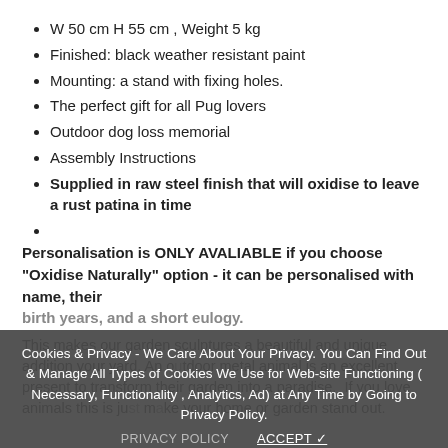W 50 cm H 55 cm , Weight 5 kg
Finished: black weather resistant paint
Mounting: a stand with fixing holes.
The perfect gift for all Pug lovers
Outdoor dog loss memorial
Assembly Instructions
Supplied in raw steel finish that will oxidise to leave a rust patina in time
Personalisation is ONLY AVALIABLE if you choose "Oxidise Naturally" option - it can be personalised with name, their birth years, and a short eulogy.
This makes our garden sculptures a beautiful and unique addition your yard. An outdoor metal animal is an excellent present to transform their garden into a paradise. If you love animals this is just make your home or garden stand out.
Cookies & Privacy - We Care About Your Privacy. You Can Find Out & Manage All Types of Cookies We Use for Web-site Functioning ( Necessary, Functionality , Analytics, Ad) at Any Time by Going to Privacy Policy.